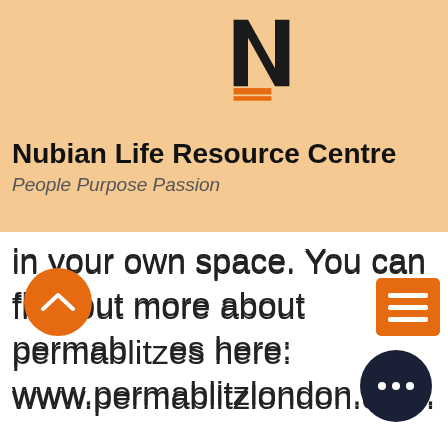[Figure (logo): Nubian Life logo — stylized N with orange lines, text NUBIAN LIFE below]
Nubian Life Resource Centre
People Purpose Passion
in your own space. You can find out more about permablitzes here:
www.permablitzlondon.com.
Growing Together is a project where we grow fruit, vegetables and flowers together. We will be continuing the project in 2022. We have free seeds that you can collect to start growing and will support you with online